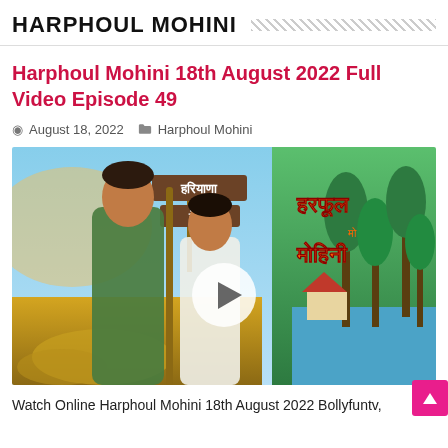HARPHOUL MOHINI
Harphoul Mohini 18th August 2022 Full Video Episode 49
August 18, 2022   Harphoul Mohini
[Figure (photo): Promotional image for Harphoul Mohini TV show featuring two main characters — a man in green shirt holding a stick and a woman in white saree — with directional signs reading Haryana and Kerala in Hindi, a play button overlay in the center, and the show title in Hindi script on the right side with a tropical backdrop.]
Watch Online Harphoul Mohini 18th August 2022 Bollyfuntv,